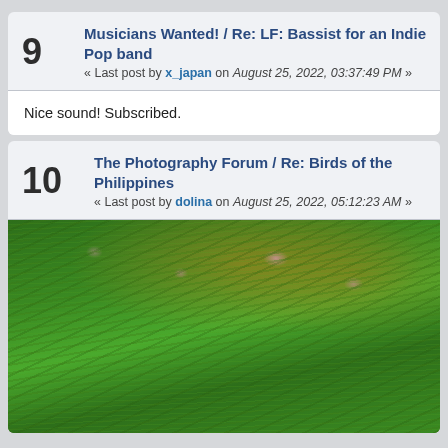9 — Musicians Wanted! / Re: LF: Bassist for an Indie Pop band — « Last post by x_japan on August 25, 2022, 03:37:49 PM »
Nice sound! Subscribed.
10 — The Photography Forum / Re: Birds of the Philippines — « Last post by dolina on August 25, 2022, 05:12:23 AM »
[Figure (photo): Close-up photo of green grass blades in the foreground with blurred golden/amber foliage and small pink flowers visible in the background.]